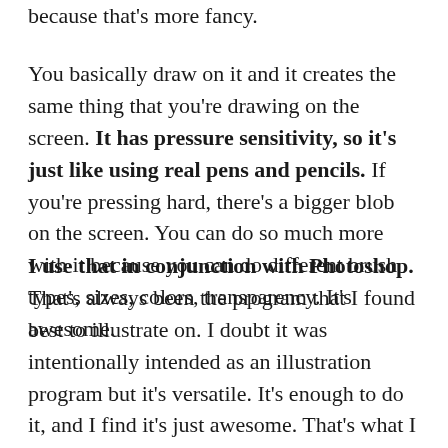because that's more fancy.
You basically draw on it and it creates the same thing that you're drawing on the screen. It has pressure sensitivity, so it's just like using real pens and pencils. If you're pressing hard, there's a bigger blob on the screen. You can do so much more with it because you can do different brush types, sizes, colors, transparency. It's awesome.
I use that in conjunction with Photoshop. That's always been the program that I found best to illustrate on. I doubt it was intentionally intended as an illustration program but it's versatile. It's enough to do it, and I find it's just awesome. That's what I use.